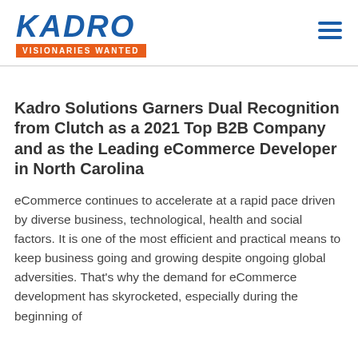KADRO | VISIONARIES WANTED
Kadro Solutions Garners Dual Recognition from Clutch as a 2021 Top B2B Company and as the Leading eCommerce Developer in North Carolina
eCommerce continues to accelerate at a rapid pace driven by diverse business, technological, health and social factors. It is one of the most efficient and practical means to keep business going and growing despite ongoing global adversities. That’s why the demand for eCommerce development has skyrocketed, especially during the beginning of